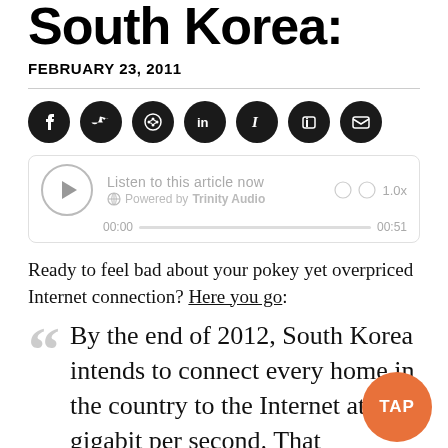South Korea:
FEBRUARY 23, 2011
[Figure (infographic): Social share icons: Facebook, Twitter, Reddit, LinkedIn, Instapaper, Blogger, Email — all dark circular buttons]
[Figure (infographic): Audio player widget: play button, 'Listen to this article now', Powered by Trinity Audio, 1.0x speed, 00:00 / 00:51 progress bar]
Ready to feel bad about your pokey yet overpriced Internet connection? Here you go:
By the end of 2012, South Korea intends to connect every home in the country to the Internet at one gigabit per second. That